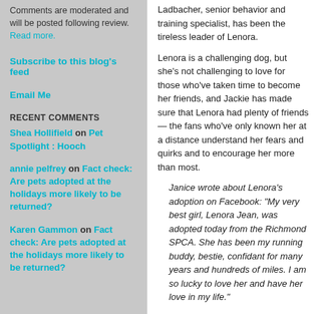Comments are moderated and will be posted following review. Read more.
Subscribe to this blog's feed
Email Me
RECENT COMMENTS
Shea Hollifield on Pet Spotlight : Hooch
annie pelfrey on Fact check: Are pets adopted at the holidays more likely to be returned?
Karen Gammon on Fact check: Are pets adopted at the holidays more likely to be returned?
Ladbacher, senior behavior and training specialist, has been the tireless leader of Lenora.
Lenora is a challenging dog, but she's not challenging to love for those who've taken time to become her friends, and Jackie has made sure that Lenora had plenty of friends — the fans who've only known her at a distance understand her fears and quirks and to encourage her more than most.
Janice wrote about Lenora's adoption on Facebook: "My very best girl, Lenora Jean, was adopted today from the Richmond SPCA. She has been my running buddy, bestie, confidant for many years and hundreds of miles. I am so lucky to love her and have her love in my life."
home of her own. The Richmond SPCA never gave up on her and her prospects may have been anywhere